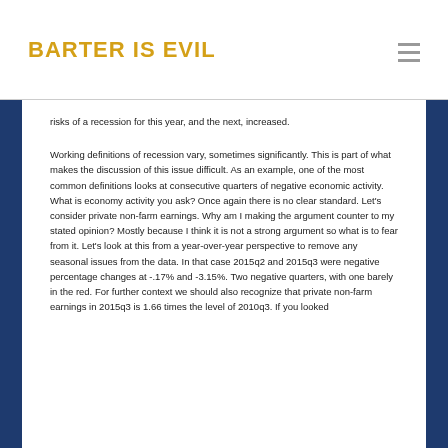BARTER IS EVIL
risks of a recession for this year, and the next, increased.
Working definitions of recession vary, sometimes significantly. This is part of what makes the discussion of this issue difficult. As an example, one of the most common definitions looks at consecutive quarters of negative economic activity. What is economy activity you ask? Once again there is no clear standard. Let's consider private non-farm earnings. Why am I making the argument counter to my stated opinion? Mostly because I think it is not a strong argument so what is to fear from it. Let's look at this from a year-over-year perspective to remove any seasonal issues from the data. In that case 2015q2 and 2015q3 were negative percentage changes at -.17% and -3.15%. Two negative quarters, with one barely in the red. For further context we should also recognize that private non-farm earnings in 2015q3 is 1.66 times the level of 2010q3. If you looked